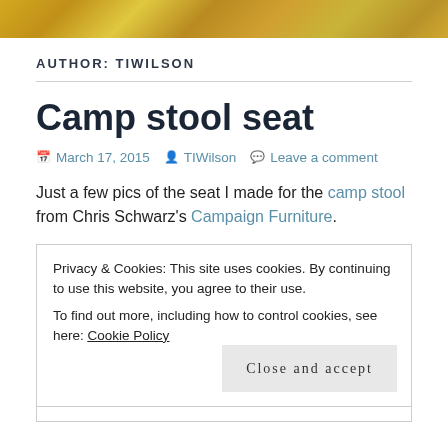[Figure (photo): Golden/yellow textured header image, appears to be food or natural material]
AUTHOR: TIWILSON
Camp stool seat
March 17, 2015  TIWilson  Leave a comment
Just a few pics of the seat I made for the camp stool from Chris Schwarz's Campaign Furniture.
Privacy & Cookies: This site uses cookies. By continuing to use this website, you agree to their use.
To find out more, including how to control cookies, see here: Cookie Policy
Close and accept